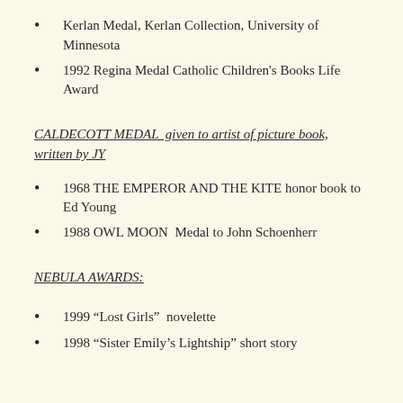Kerlan Medal, Kerlan Collection, University of Minnesota
1992 Regina Medal Catholic Children's Books Life Award
CALDECOTT MEDAL  given to artist of picture book, written by JY
1968 THE EMPEROR AND THE KITE honor book to Ed Young
1988 OWL MOON  Medal to John Schoenherr
NEBULA AWARDS:
1999 “Lost Girls”  novelette
1998 “Sister Emily’s Lightship” short story